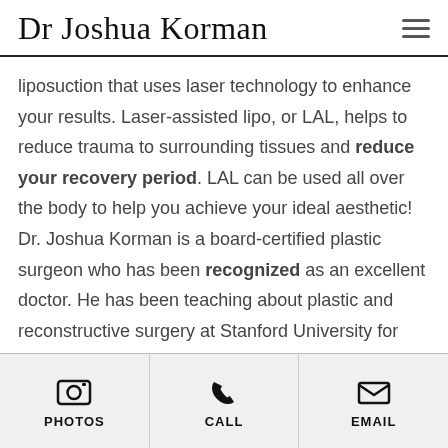Dr Joshua Korman
liposuction that uses laser technology to enhance your results. Laser-assisted lipo, or LAL, helps to reduce trauma to surrounding tissues and reduce your recovery period. LAL can be used all over the body to help you achieve your ideal aesthetic! Dr. Joshua Korman is a board-certified plastic surgeon who has been recognized as an excellent doctor. He has been teaching about plastic and reconstructive surgery at Stanford University for twenty-six years and takes pride in his work. He is passionate about providing his patients with excellent results and
PHOTOS  CALL  EMAIL